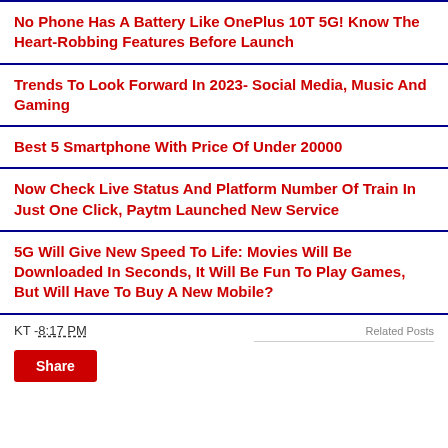No Phone Has A Battery Like OnePlus 10T 5G! Know The Heart-Robbing Features Before Launch
Trends To Look Forward In 2023- Social Media, Music And Gaming
Best 5 Smartphone With Price Of Under 20000
Now Check Live Status And Platform Number Of Train In Just One Click, Paytm Launched New Service
5G Will Give New Speed To Life: Movies Will Be Downloaded In Seconds, It Will Be Fun To Play Games, But Will Have To Buy A New Mobile?
KT - 8:17 PM
Related Posts
Share